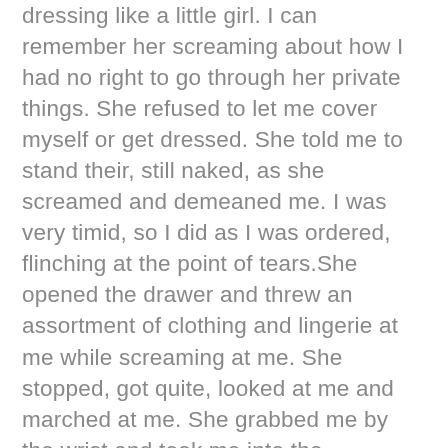dressing like a little girl. I can remember her screaming about how I had no right to go through her private things. She refused to let me cover myself or get dressed. She told me to stand their, still naked, as she screamed and demeaned me. I was very timid, so I did as I was ordered, flinching at the point of tears.She opened the drawer and threw an assortment of clothing and lingerie at me while screaming at me. She stopped, got quite, looked at me and marched at me. She grabbed me by the wrist and took me into the bathroom. She began running the tub with scolding hot water. She kept screaming over and over, “So, you want to wear women’s clothing. Well, let’s see how you like being a woman!” I was so terrified. She almost threw me into the tub of hot water and ordered me to put my legs on the edge of the tub and proceeded to shave them, my arms, chest, and cock and any hair in my ass. If I tried to pull away she smacked me hard, leaving a hand print, and warned she would tell my father